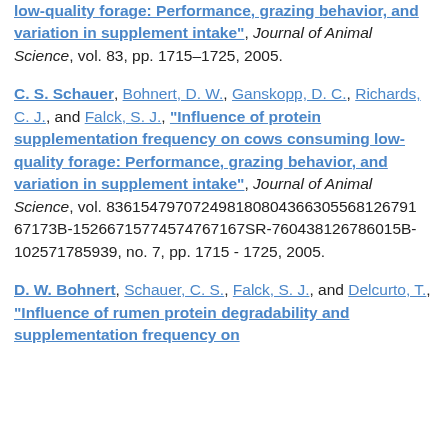low-quality forage: Performance, grazing behavior, and variation in supplement intake", Journal of Animal Science, vol. 83, pp. 1715–1725, 2005.
C. S. Schauer, Bohnert, D. W., Ganskopp, D. C., Richards, C. J., and Falck, S. J., "Influence of protein supplementation frequency on cows consuming low-quality forage: Performance, grazing behavior, and variation in supplement intake", Journal of Animal Science, vol. 8361547970724981808043663055681 26791 67173B-152667157745747 67167SR-760438126786015B-102571785939, no. 7, pp. 1715 - 1725, 2005.
D. W. Bohnert, Schauer, C. S., Falck, S. J., and Delcurto, T., "Influence of rumen protein degradability and supplementation frequency on